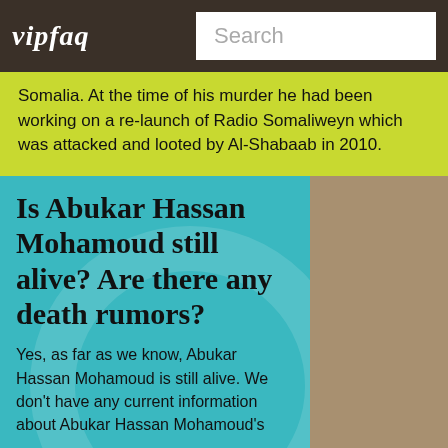vipfaq | Search
Somalia. At the time of his murder he had been working on a re-launch of Radio Somaliweyn which was attacked and looted by Al-Shabaab in 2010.
Is Abukar Hassan Mohamoud still alive? Are there any death rumors?
Yes, as far as we know, Abukar Hassan Mohamoud is still alive. We don't have any current information about Abukar Hassan Mohamoud's